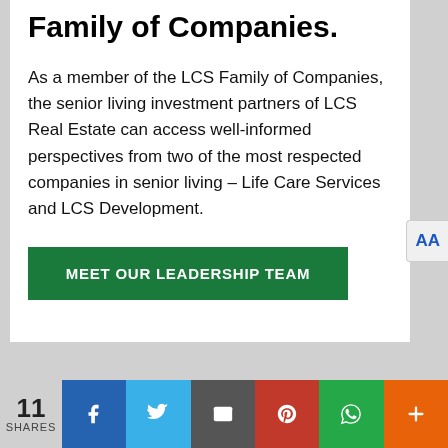Family of Companies.
As a member of the LCS Family of Companies, the senior living investment partners of LCS Real Estate can access well-informed perspectives from two of the most respected companies in senior living – Life Care Services and LCS Development.
MEET OUR LEADERSHIP TEAM
11 SHARES